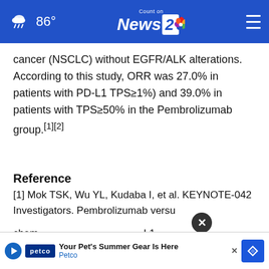86° Count on News 2 NBC
cancer (NSCLC) without EGFR/ALK alterations. According to this study, ORR was 27.0% in patients with PD-L1 TPS≥1%) and 39.0% in patients with TPS≥50% in the Pembrolizumab group.[1][2]
Reference
[1] Mok TSK, Wu YL, Kudaba I, et al. KEYNOTE-042 Investigators. Pembrolizumab versu... chem... -L1-
[Figure (screenshot): Advertisement banner for Petco: 'Your Pet's Summer Gear Is Here' with Petco logo, play button, navigation icon, and close button overlay]